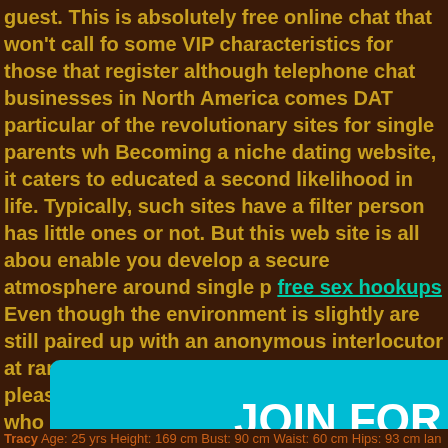guest. This is absolutely free online chat that won't call for some VIP characteristics for those that register although telephone chat businesses in North America comes DAT particular of the revolutionary sites for single parents wh Becoming a niche dating website, it caters to educated a second likelihood in life. Typically, such sites have a filter person has little ones or not. But this web site is all abou enable you develop a secure atmosphere around single p free sex hookups Even though the environment is slightly are still paired up with an anonymous interlocutor at rand subsequent person if you are not pleased with what you best selection for folks who do not want to spend revenu internet websites like Omegle and some other people we sites but, they can generally be inappropriate or turn out people today in y
[Figure (other): A large cyan/turquoise button with white bold text reading 'JOIN FOR FREE!']
Tracy  Age: 25 yrs  Height: 169 cm  Bust: 90 cm  Waist: 60 cm  Hips: 93 cm  lan